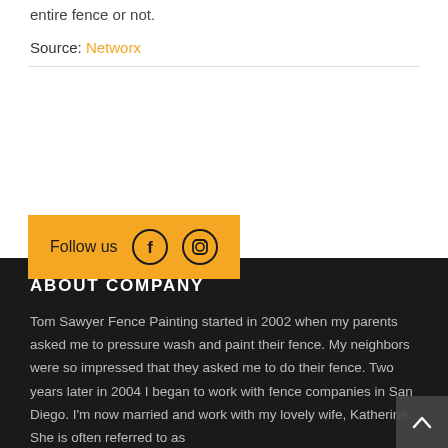entire fence or not.
Source: Networx
Follow us
ABOUT COMPANY
Tom Sawyer Fence Painting started in 2002 when my parents asked me to pressure wash and paint their fence. My neighbors were so impressed that they asked me to do their fence. Two years later in 2004 I began to work with fence companies in San Diego. I'm now married and work with my lovely wife, Katherine. She is often referred to as